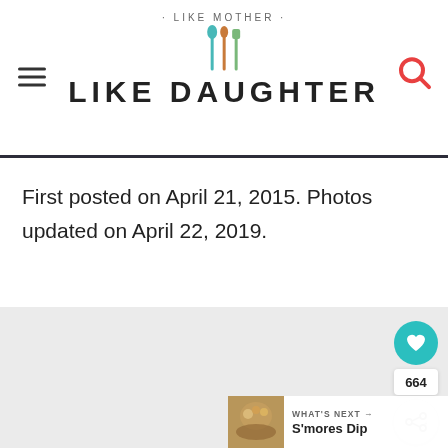· LIKE MOTHER · LIKE DAUGHTER
First posted on April 21, 2015. Photos updated on April 22, 2019.
[Figure (photo): Large food photo area (light gray placeholder), with social interaction UI: heart/like button (teal circle, 664 likes), share button, and 'What's Next → S'mores Dip' navigation widget with thumbnail.]